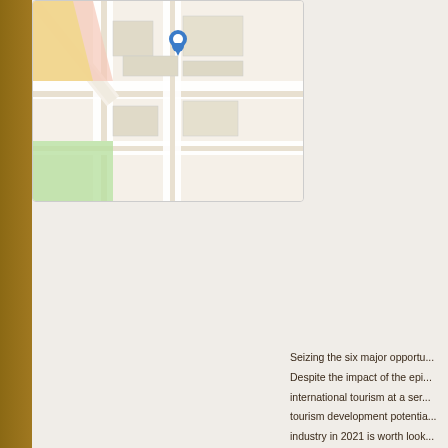[Figure (map): Street map with a blue location pin marker, showing roads, buildings, and a green area]
Seizing the six major opportu... Despite the impact of the epi... international tourism at a ser... tourism development potenti... industry in 2021 is worth look... World economists have high... In 2020, the new crown epide... the future economic develop... economists have high hopes... The Organization for Econom... that the global economy will e... The International Monetary F... shrink by 4.4% in 2020, and ... achieve positive growth. The...